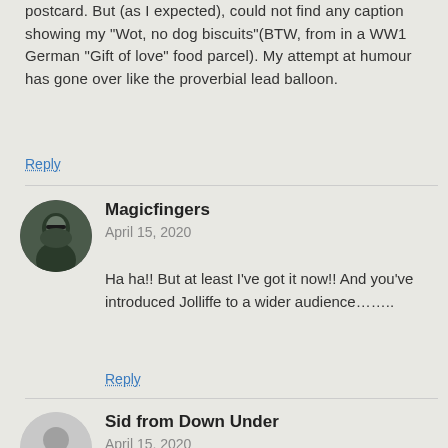postcard. But (as I expected), could not find any caption showing my “Wot, no dog biscuits”(BTW, from in a WW1 German “Gift of love” food parcel). My attempt at humour has gone over like the proverbial lead balloon.
Reply
Magicfingers
April 15, 2020
Ha ha!! But at least I’ve got it now!! And you’ve introduced Jolliffe to a wider audience…….
Reply
Sid from Down Under
April 15, 2020
As a play on words I was tempted to say “went over like a Led Zeppelin” which I’m confident you will understand